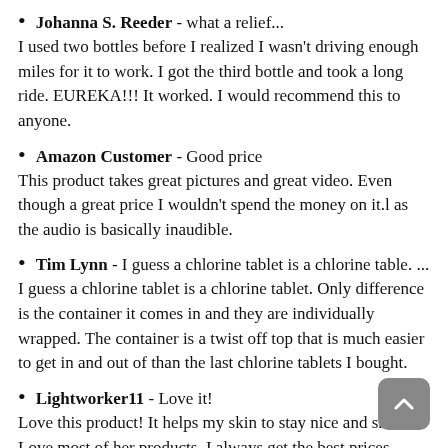Johanna S. Reeder - what a relief...
I used two bottles before I realized I wasn't driving enough miles for it to work. I got the third bottle and took a long ride. EUREKA!!! It worked. I would recommend this to anyone.
Amazon Customer - Good price
This product takes great pictures and great video. Even though a great price I wouldn't spend the money on it.l as the audio is basically inaudible.
Tim Lynn - I guess a chlorine tablet is a chlorine table. ...
I guess a chlorine tablet is a chlorine tablet. Only difference is the container it comes in and they are individually wrapped. The container is a twist off top that is much easier to get in and out of than the last chlorine tablets I bought.
Lightworker11 - Love it!
Love this product! It helps my skin to stay nice and smooth. Love most of her products. I always get the best prices through